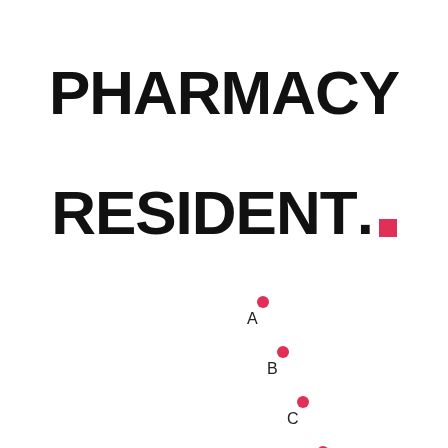PHARMACY RESIDENT.
[Figure (logo): Three diagonal dots labeled A, B, C in pink/red, arranged diagonally from upper-left to lower-right, with a fourth dot partially visible at the bottom. Letters A, B, C appear below each dot in dark text.]